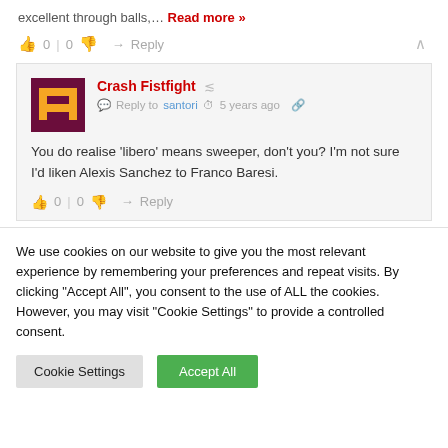excellent through balls,… Read more »
👍 0 | 0 👎 → Reply ∧
Crash Fistfight  Reply to santori  5 years ago
You do realise 'libero' means sweeper, don't you? I'm not sure I'd liken Alexis Sanchez to Franco Baresi.
👍 0 | 0 👎 → Reply
We use cookies on our website to give you the most relevant experience by remembering your preferences and repeat visits. By clicking "Accept All", you consent to the use of ALL the cookies. However, you may visit "Cookie Settings" to provide a controlled consent.